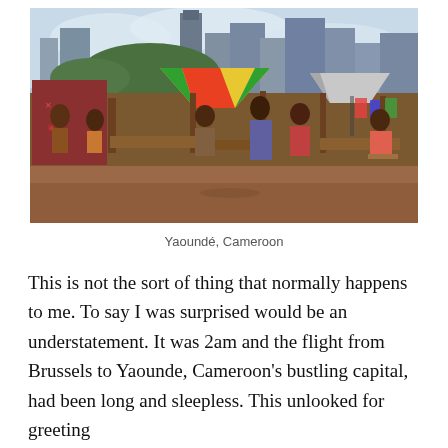[Figure (photo): Street market scene in Yaoundé, Cameroon. Vendors and shoppers at outdoor stalls with colorful umbrellas, clothing and goods displayed. City skyline with buildings visible in background.]
Yaoundé, Cameroon
This is not the sort of thing that normally happens to me. To say I was surprised would be an understatement. It was 2am and the flight from Brussels to Yaounde, Cameroon's bustling capital, had been long and sleepless. This unlooked for greeting